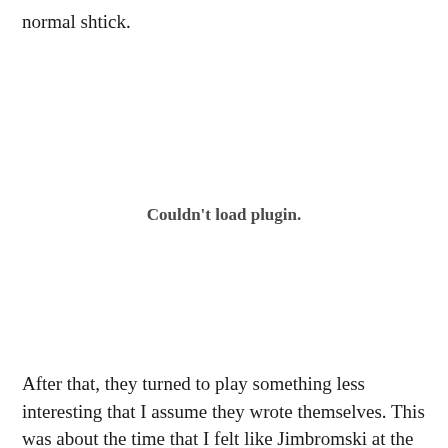normal shtick.
[Figure (other): Couldn't load plugin. — placeholder area for an embedded media plugin that failed to load.]
After that, they turned to play something less interesting that I assume they wrote themselves. This was about the time that I felt like Jimbromski at the Mozzer concert (see his post). So I left and headed to the cleanest WC in the neighborhood. Sorry Bar Pilar. Everything was fine until